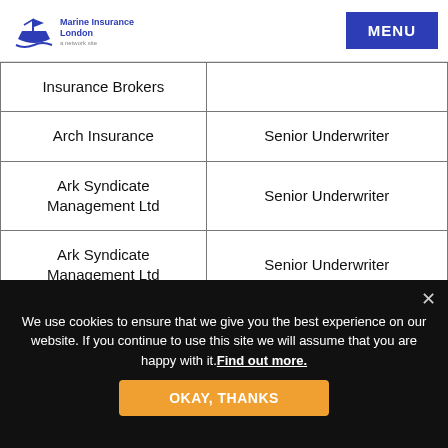Marine Insurance London | MENU
| Insurance Brokers |  |
| --- | --- |
| Arch Insurance | Senior Underwriter |
| Ark Syndicate Management Ltd | Senior Underwriter |
| Ark Syndicate Management Ltd | Senior Underwriter |
We use cookies to ensure that we give you the best experience on our website. If you continue to use this site we will assume that you are happy with it. Find out more.
OKAY, THANKS